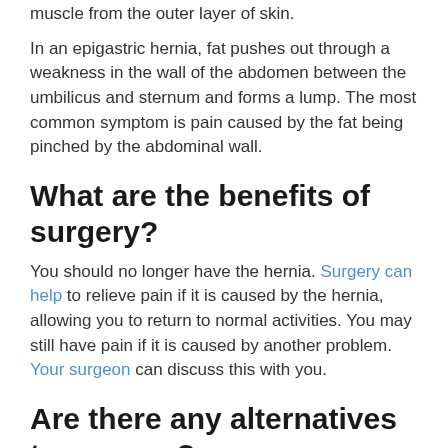muscle from the outer layer of skin.
In an epigastric hernia, fat pushes out through a weakness in the wall of the abdomen between the umbilicus and sternum and forms a lump. The most common symptom is pain caused by the fat being pinched by the abdominal wall.
What are the benefits of surgery?
You should no longer have the hernia. Surgery can help to relieve pain if it is caused by the hernia, allowing you to return to normal activities. You may still have pain if it is caused by another problem. Your surgeon can discuss this with you.
Are there any alternatives to surgery?
Surgery is recommended as it is the only dependable way to cure the condition.